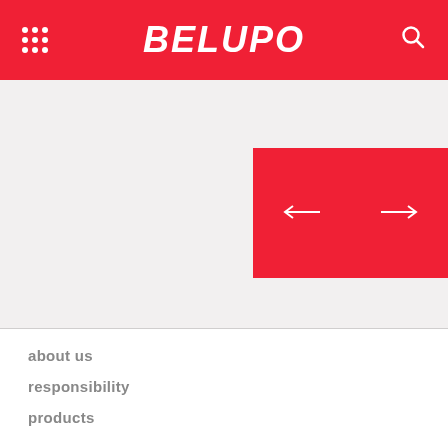BELUPO
[Figure (screenshot): Gray background main content area with a red navigation card showing left and right arrow buttons]
about us
responsibility
products